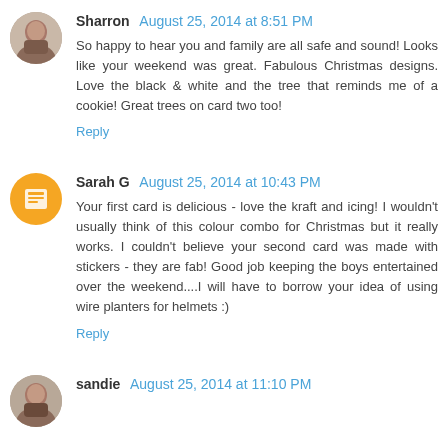Sharron August 25, 2014 at 8:51 PM
So happy to hear you and family are all safe and sound! Looks like your weekend was great. Fabulous Christmas designs. Love the black & white and the tree that reminds me of a cookie! Great trees on card two too!
Reply
Sarah G August 25, 2014 at 10:43 PM
Your first card is delicious - love the kraft and icing! I wouldn't usually think of this colour combo for Christmas but it really works. I couldn't believe your second card was made with stickers - they are fab! Good job keeping the boys entertained over the weekend....I will have to borrow your idea of using wire planters for helmets :)
Reply
sandie August 25, 2014 at 11:10 PM